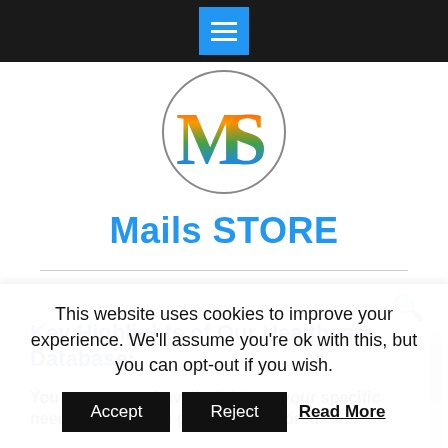Navigation bar with hamburger menu button
[Figure (logo): Mails STORE logo: circle with rainbow-colored 'MS' letters inside]
Mails STORE
Key Highlights of Our Healthcare Database:
You name it, we have it. Address your specific needs we help you get the list tailored
This website uses cookies to improve your experience. We'll assume you're ok with this, but you can opt-out if you wish. Accept Reject Read More